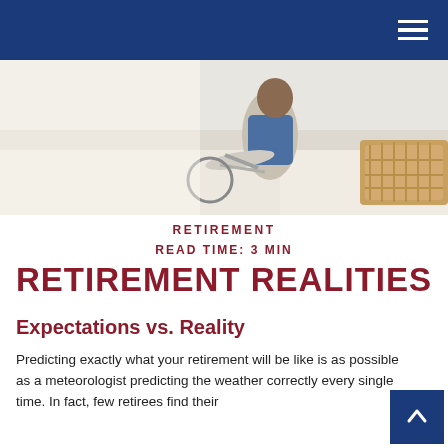[Figure (photo): Person riding a bicycle near a beach, wearing a blue jacket, with a wicker basket visible on the right side of the image.]
RETIREMENT
READ TIME: 3 MIN
RETIREMENT REALITIES
Expectations vs. Reality
Predicting exactly what your retirement will be like is as possible as a meteorologist predicting the weather correctly every single time. In fact, few retirees find their